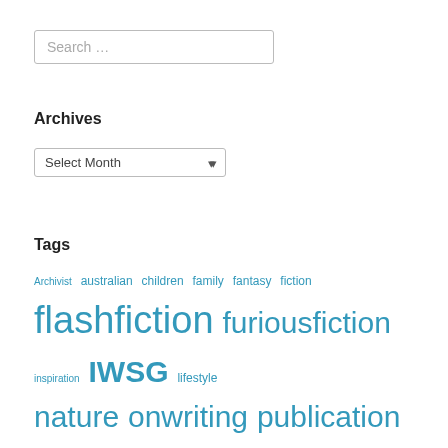Search …
Archives
Select Month
Tags
Archivist australian children family fantasy fiction flashfiction furiousfiction inspiration IWSG lifestyle nature onwriting publication reading reddit scifi shortstory specfic speculative